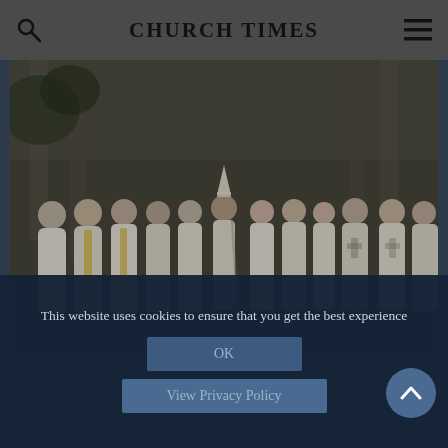CHURCH TIMES
[Figure (photo): Group photo of clergy in white robes standing outside a stone church building. A bishop wearing a mitre stands in the center of the group.]
This website uses cookies to ensure that you get the best experience
OK
View Privacy Policy